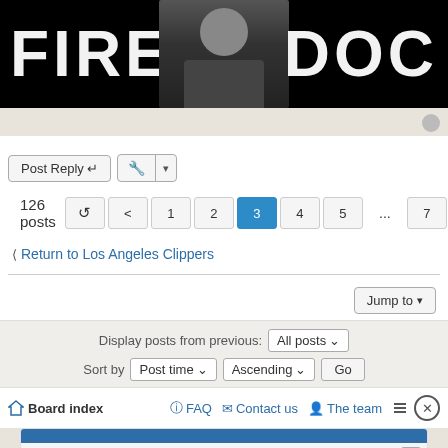[Figure (screenshot): Forum page screenshot showing 'FIRE DOC' banner with a man in a suit, post reply controls, pagination showing 126 posts on page 3, return to Los Angeles Clippers link, Jump to button, display/sort controls, board index bar, and a survey ad overlay asking 'Have you recently seen a digital ad from CeraVe?' with Yes/No buttons]
Post Reply
126 posts
1 2 3 4 5 ... 7
Return to Los Angeles Clippers
Jump to
Display posts from previous: All posts
Sort by Post time Ascending Go
Board index
FAQ
Contact us
The team
Have you recently seen a digital ad from CeraVe?
Yes
No